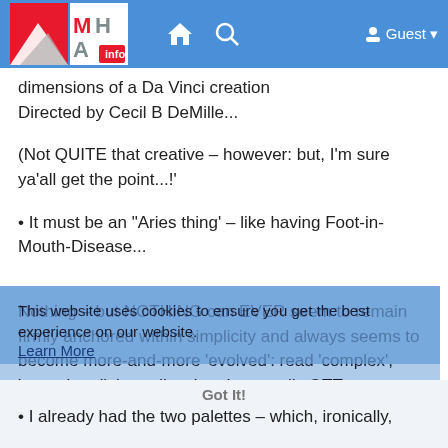MHA Info website navigation bar with logo, home icon, search icon, and Guest menu
dimensions of a Da Vinci creation Directed by Cecil B DeMille...
(Not QUITE that creative – however: but, I'm sure ya'all get the point...!'
• It must be an "Aries thing' – like having Foot-in-Mouth-Disease...
Nothing – but NOTHING can EVER seem to remain firmly anchored within simplicity and always seems to become more-and-more 'evolved': read 'complex', 'convoluted', 'grandiose' and generally OTT...
This website uses cookies to ensure you get the best experience on our website.
Learn More
Got It!
• I already had the two palettes – which, ironically,